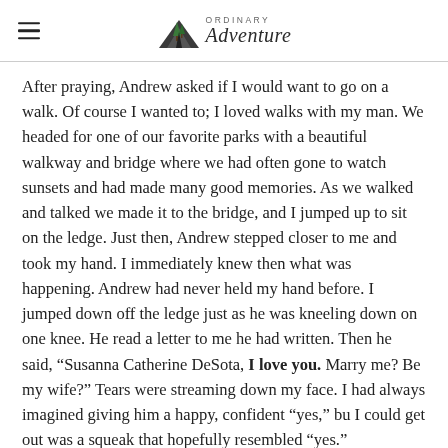Ordinary Adventure
After praying, Andrew asked if I would want to go on a walk. Of course I wanted to; I loved walks with my man. We headed for one of our favorite parks with a beautiful walkway and bridge where we had often gone to watch sunsets and had made many good memories. As we walked and talked we made it to the bridge, and I jumped up to sit on the ledge. Just then, Andrew stepped closer to me and took my hand. I immediately knew then what was happening. Andrew had never held my hand before. I jumped down off the ledge just as he was kneeling down on one knee. He read a letter to me he had written. Then he said, “Susanna Catherine DeSota, I love you. Marry me? Be my wife?” Tears were streaming down my face. I had always imagined giving him a happy, confident “yes,” bu I could get out was a squeak that hopefully resembled “yes.”